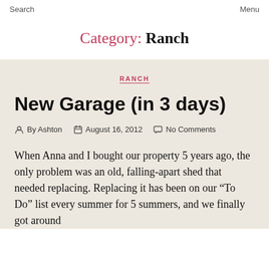Search    Menu
Category: Ranch
RANCH
New Garage (in 3 days)
By Ashton  August 16, 2012  No Comments
When Anna and I bought our property 5 years ago, the only problem was an old, falling-apart shed that needed replacing. Replacing it has been on our “To Do” list every summer for 5 summers, and we finally got around